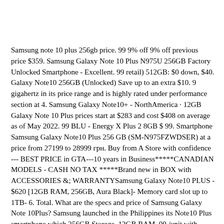Samsung note 10 plus 256gb price. 99 9% off 9% off previous price $359. Samsung Galaxy Note 10 Plus N975U 256GB Factory Unlocked Smartphone - Excellent. 99 retail) 512GB: $0 down, $40. Galaxy Note10 256GB (Unlocked) Save up to an extra $10. 9 gigahertz in its price range and is highly rated under performance section at 4. Samsung Galaxy Note10+ - NorthAmerica · 12GB Galaxy Note 10 Plus prices start at $283 and cost $408 on average as of May 2022. 99 BLU - Energy X Plus 2 8GB $ 99. Smartphone Samsung Galaxy Note10 Plus 256 GB (SM-N975FZWDSER) at a price from 27199 to 28999 грн. Buy from A Store with confidence --- BEST PRICE in GTA---10 years in Business***** CANADIAN MODELS - CASH NO TAX *****Brand new in BOX with ACCESSORIES &; WARRANTYSamsung Galaxy Note10 PLUS - $620 [12GB RAM, 256GB, Aura Black]- Memory card slot up to 1TB- 6. Total. What are the specs and price of Samsung Galaxy Note 10Plus? Samsung launched in the Philippines its Note10 Plus smartphone which 256GB Storage, 12GB RAM. 00 /unit with Corporate Discount. Samsung phones hold their value well, but prices will continue to drop as time